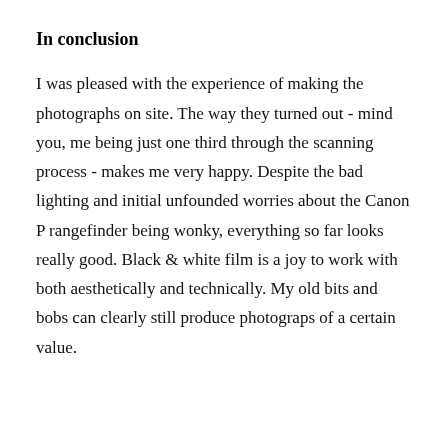In conclusion
I was pleased with the experience of making the photographs on site. The way they turned out - mind you, me being just one third through the scanning process - makes me very happy. Despite the bad lighting and initial unfounded worries about the Canon P rangefinder being wonky, everything so far looks really good. Black & white film is a joy to work with both aesthetically and technically. My old bits and bobs can clearly still produce photograps of a certain value.